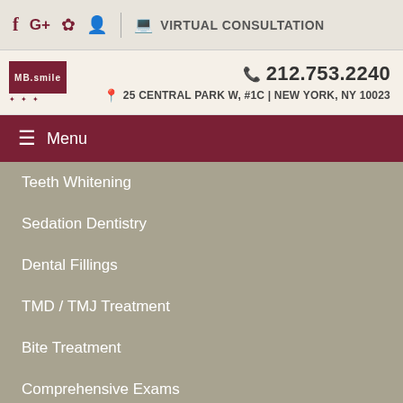f G+ ☆ 👤 | 💻 VIRTUAL CONSULTATION
[Figure (logo): Dental practice logo with red box]
212.753.2240
25 CENTRAL PARK W, #1C | NEW YORK, NY 10023
☰ Menu
Teeth Whitening
Sedation Dentistry
Dental Fillings
TMD / TMJ Treatment
Bite Treatment
Comprehensive Exams
Periodontal Disease Treatment
Second Opinions
CEREC
Contact Us